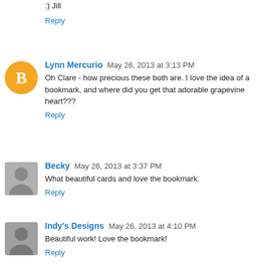:) Jill
Reply
Lynn Mercurio  May 26, 2013 at 3:13 PM
Oh Clare - how precious these both are. I love the idea of a bookmark, and where did you get that adorable grapevine heart???
Reply
Becky  May 26, 2013 at 3:37 PM
What beautiful cards and love the bookmark.
Reply
Indy's Designs  May 26, 2013 at 4:10 PM
Beautiful work! Love the bookmark!
Reply